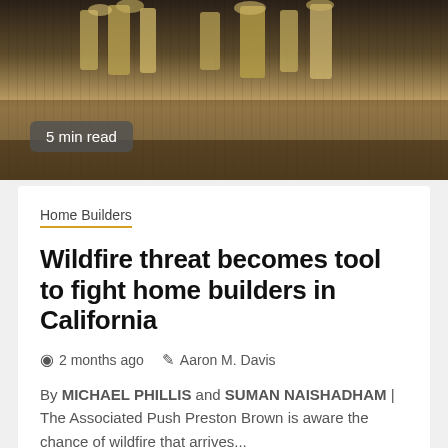[Figure (photo): Dark industrial/kitchen equipment photo with golden tones, top portion of article card]
5 min read
Home Builders
Wildfire threat becomes tool to fight home builders in California
2 months ago   Aaron M. Davis
By MICHAEL PHILLIS and SUMAN NAISHADHAM | The Associated Push Preston Brown is aware the chance of wildfire that arrives...
[Figure (photo): Brick building exterior photo, lower portion of page]